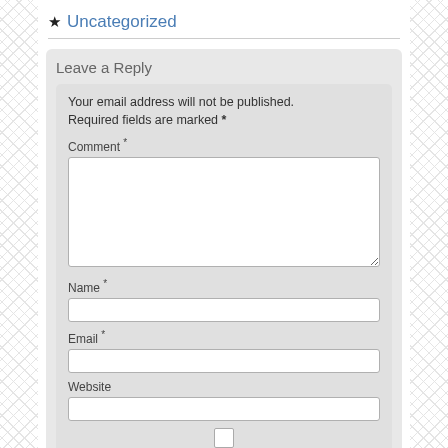★ Uncategorized
Leave a Reply
Your email address will not be published. Required fields are marked *
Comment *
Name *
Email *
Website
Save my name, email, and website in this browser for the next time I comment.
Post Comment